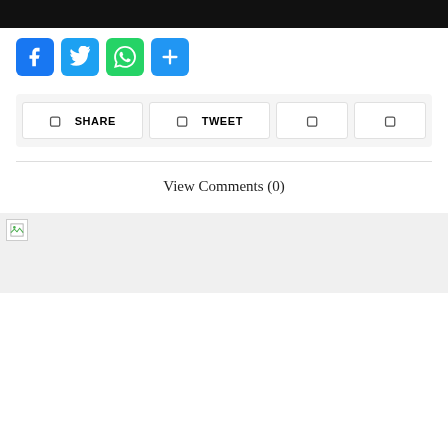[Figure (screenshot): Black header bar at top of page]
[Figure (screenshot): Social media share buttons row: Facebook (blue), Twitter (light blue), WhatsApp (green), Plus/More (blue)]
[Figure (screenshot): Share bar with SHARE button, TWEET button, and two icon-only square buttons]
View Comments (0)
[Figure (screenshot): Footer area with broken image icon at top left, light gray background]